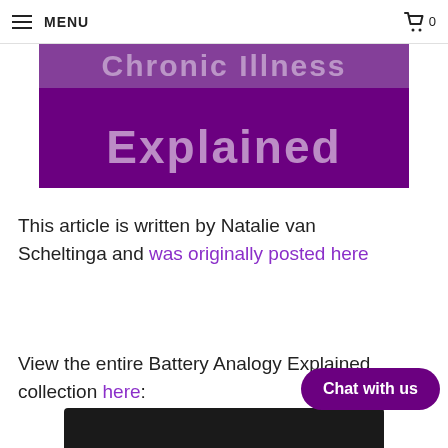MENU | 0
[Figure (illustration): Purple banner with large semi-transparent text reading 'Explained' on a dark purple background, with faded text above]
This article is written by Natalie van Scheltinga and was originally posted here
View the entire Battery Analogy Explained collection here:
[Figure (photo): Black t-shirt showing 'Battery Analogy Explained' text with battery icons, waking up and showering items listed]
Chat with us